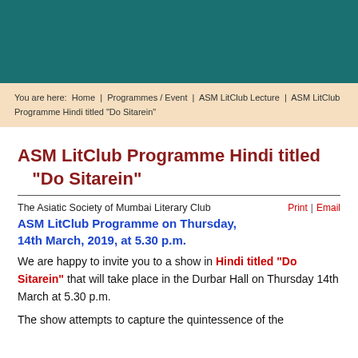[Figure (other): Teal/dark green header banner image at top of page]
You are here: Home | Programmes / Event | ASM LitClub Lecture | ASM LitClub Programme Hindi titled "Do Sitarein"
ASM LitClub Programme Hindi titled "Do Sitarein"
The Asiatic Society of Mumbai Literary Club   Print | Email
ASM LitClub Programme on Thursday, 14th March, 2019, at 5.30 p.m.
We are happy to invite you to a show in Hindi titled "Do Sitarein" that will take place in the Durbar Hall on Thursday 14th March at 5.30 p.m.
The show attempts to capture the quintessence of the